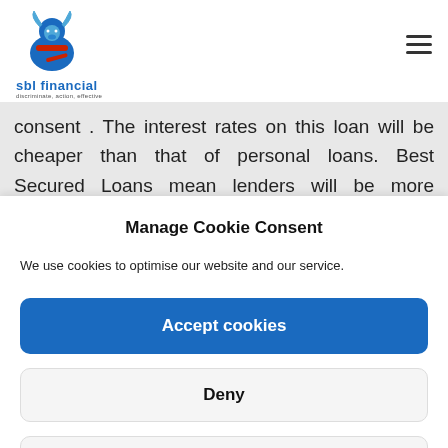[Figure (logo): SBL Financial logo with ram/goat mascot icon and text 'sbl financial' with tagline beneath]
consent . The interest rates on this loan will be cheaper than that of personal loans. Best Secured Loans mean lenders will be more accommodating for reasons behind
Manage Cookie Consent
We use cookies to optimise our website and our service.
Accept cookies
Deny
View preferences